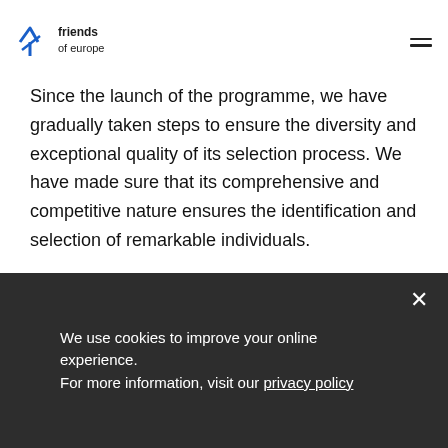[Figure (logo): Friends of Europe logo with blue star/arrow icon and text 'friends of europe']
Since the launch of the programme, we have gradually taken steps to ensure the diversity and exceptional quality of its selection process. We have made sure that its comprehensive and competitive nature ensures the identification and selection of remarkable individuals.

We aim to select 40 European Young Leaders of diverse backgrounds to enable a broad exchange of ideas, creating the basis for a new generation of engaged Europeans.
We use cookies to improve your online experience.
For more information, visit our privacy policy